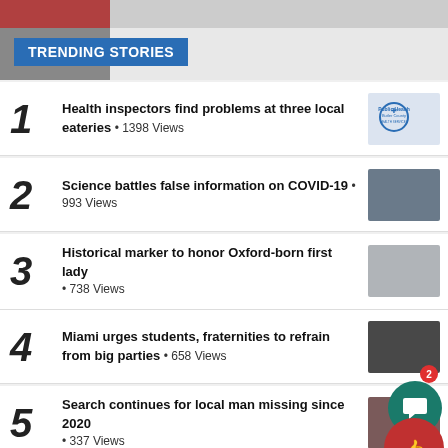TRENDING STORIES
Health inspectors find problems at three local eateries • 1398 Views
Science battles false information on COVID-19 • 993 Views
Historical marker to honor Oxford-born first lady • 738 Views
Miami urges students, fraternities to refrain from big parties • 658 Views
Search continues for local man missing since 2020 • 337 Views